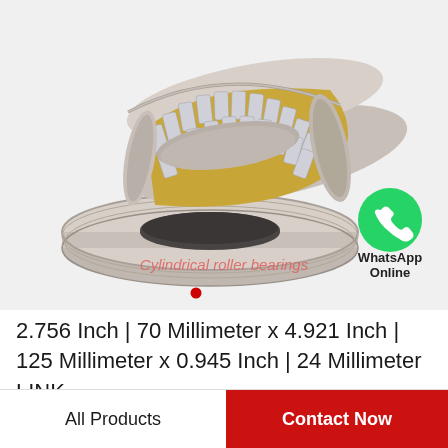[Figure (photo): Cylindrical roller bearing product photo showing a double-row cylindrical roller bearing with silver/gold coloring, displayed on a light gray background. A WhatsApp Online badge appears in the lower right of the image area. A watermark reading 'Cylindrical roller bearings' appears in the lower center.]
2.756 Inch | 70 Millimeter x 4.921 Inch | 125 Millimeter x 0.945 Inch | 24 Millimeter LINK…
All Products
Contact Now